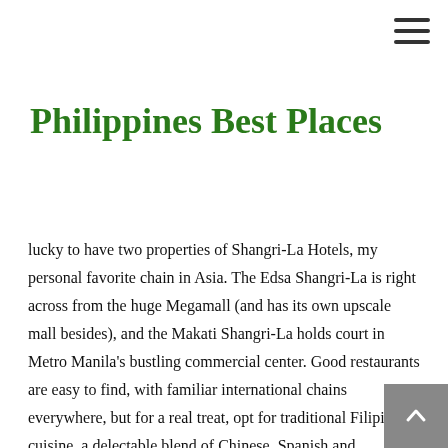Philippines Best Places
lucky to have two properties of Shangri-La Hotels, my personal favorite chain in Asia. The Edsa Shangri-La is right across from the huge Megamall (and has its own upscale mall besides), and the Makati Shangri-La holds court in Metro Manila's bustling commercial center. Good restaurants are easy to find, with familiar international chains everywhere, but for a real treat, opt for traditional Filipino cuisine, a delectable blend of Chinese, Spanish and Polynesian cooking.
The most beautiful thing about the Philippines remains the sweetness of its people. The “Good morning, sir” and “Good evening, ma’am” one hears so often are sincere and heartfelt